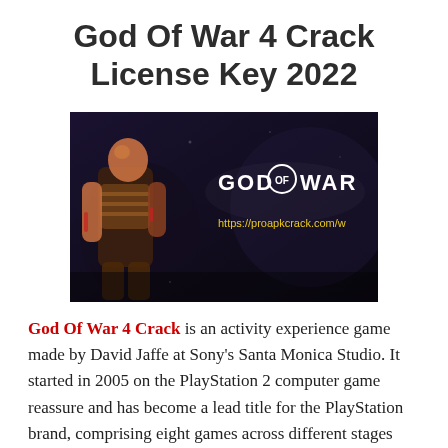God Of War 4 Crack License Key 2022
[Figure (photo): Dark-themed promotional image of God of War game featuring a warrior character (Kratos) in armor with the text 'GOD OF WAR' in white letters and URL 'https://proapkcrack.com/w' in yellow text overlaid on the image.]
God Of War 4 Crack is an activity experience game made by David Jaffe at Sony's Santa Monica Studio. It started in 2005 on the PlayStation 2 computer game reassure and has become a lead title for the PlayStation brand, comprising eight games across different stages with a